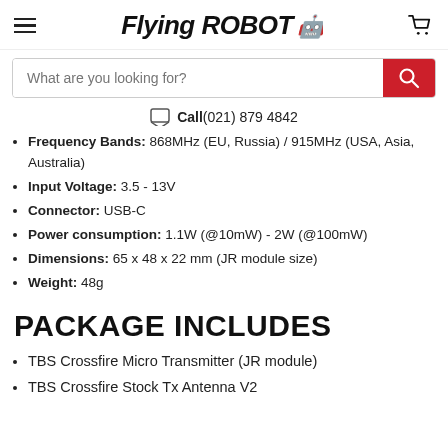Flying ROBOT (logo with hamburger menu and cart icon)
What are you looking for? [search bar] Call(021) 879 4842
Frequency Bands: 868MHz (EU, Russia) / 915MHz (USA, Asia, Australia)
Input Voltage: 3.5 - 13V
Connector: USB-C
Power consumption: 1.1W (@10mW) - 2W (@100mW)
Dimensions: 65 x 48 x 22 mm (JR module size)
Weight: 48g
PACKAGE INCLUDES
TBS Crossfire Micro Transmitter (JR module)
TBS Crossfire Stock Tx Antenna V2